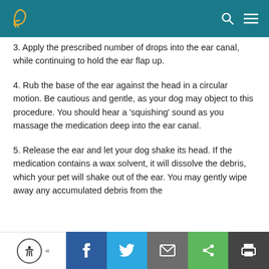Navigation header with logo, search, and menu icons
3. Apply the prescribed number of drops into the ear canal, while continuing to hold the ear flap up.
4. Rub the base of the ear against the head in a circular motion. Be cautious and gentle, as your dog may object to this procedure. You should hear a 'squishing' sound as you massage the medication deep into the ear canal.
5. Release the ear and let your dog shake its head. If the medication contains a wax solvent, it will dissolve the debris, which your pet will shake out of the ear. You may gently wipe away any accumulated debris from the
Social share bar: Facebook, Twitter, Email, Share, Print